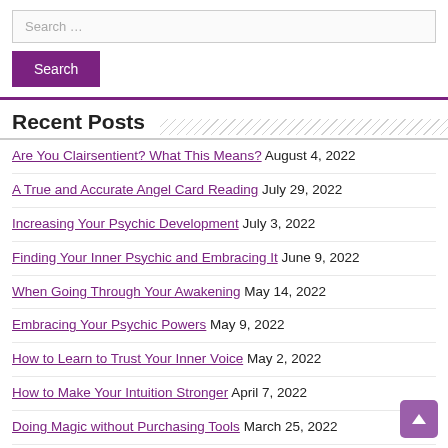Search …
Are You Clairsentient? What This Means? August 4, 2022
A True and Accurate Angel Card Reading July 29, 2022
Increasing Your Psychic Development July 3, 2022
Finding Your Inner Psychic and Embracing It June 9, 2022
When Going Through Your Awakening May 14, 2022
Embracing Your Psychic Powers May 9, 2022
How to Learn to Trust Your Inner Voice May 2, 2022
How to Make Your Intuition Stronger April 7, 2022
Doing Magic without Purchasing Tools March 25, 2022